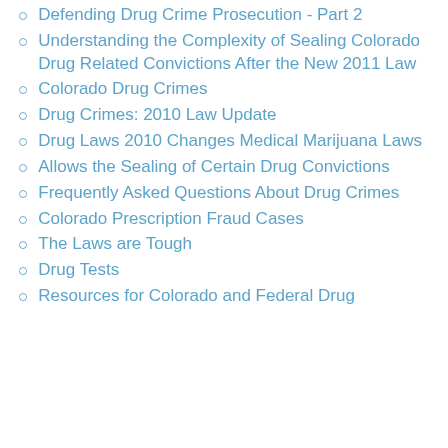Defending Drug Crime Prosecution - Part 2
Understanding the Complexity of Sealing Colorado Drug Related Convictions After the New 2011 Law
Colorado Drug Crimes
Drug Crimes: 2010 Law Update
Drug Laws 2010 Changes Medical Marijuana Laws
Allows the Sealing of Certain Drug Convictions
Frequently Asked Questions About Drug Crimes
Colorado Prescription Fraud Cases
The Laws are Tough
Drug Tests
Resources for Colorado and Federal Drug